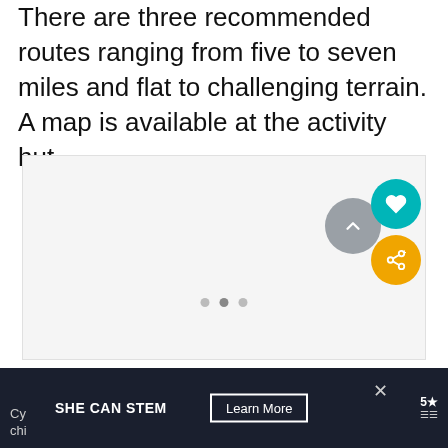There are three recommended routes ranging from five to seven miles and flat to challenging terrain. A map is available at the activity hut.
[Figure (photo): Large image placeholder area with light grey background, showing navigation dots at the bottom center and UI buttons on the right side including a scroll-up button, a teal heart/save button, and an orange share button.]
SHE CAN STEM   Learn More   5★   Cy...   chi...